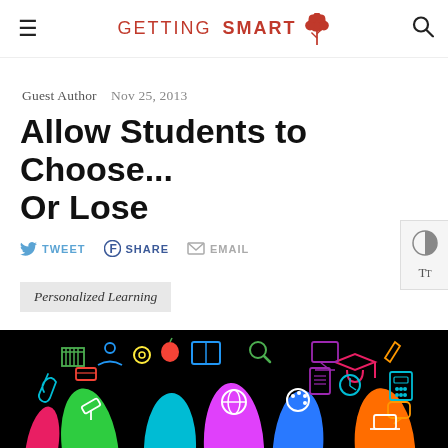GETTING SMART
Guest Author    Nov 25, 2013
Allow Students to Choose... Or Lose
TWEET   SHARE   EMAIL
Personalized Learning
[Figure (illustration): Colorful raised hands with education icons on black background]